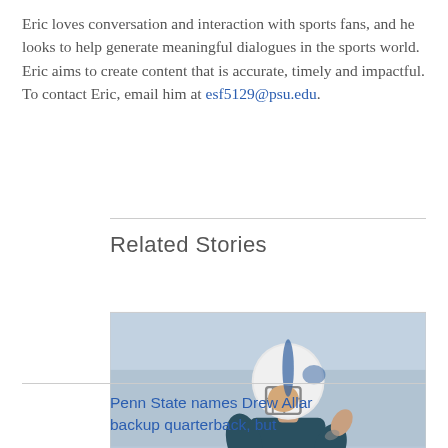Eric loves conversation and interaction with sports fans, and he looks to help generate meaningful dialogues in the sports world. Eric aims to create content that is accurate, timely and impactful. To contact Eric, email him at esf5129@psu.edu.
Related Stories
[Figure (photo): Football player wearing jersey number 15 and white helmet with Penn State logo, looking upward, wearing dark teal/navy uniform]
Penn State names Drew Allar backup quarterback, but